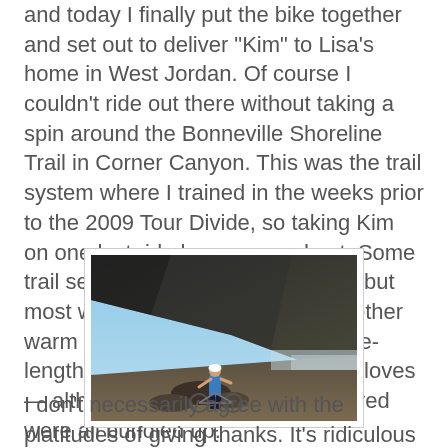and today I finally put the bike together and set out to deliver "Kim" to Lisa's home in West Jordan. Of course I couldn't ride out there without taking a spin around the Bonneville Shoreline Trail in Corner Canyon. This was the trail system where I trained in the weeks prior to the 2009 Tour Divide, so taking Kim on one last ride here seemed apt. Some trail sections were muddy like this, but most were bone dry and it was another warm day. I wore a T-shirt and knee-length tights, no need for hat and gloves — although the Utahns I encountered were all bundled up.
[Figure (photo): A cyclist standing with a mountain bike on rocky terrain, with a large dark rocky hillside behind them and a clear blue sky. Sunlight flares from the upper left. Desert valley visible in the background.]
I don't necessarily agree with the platitudes of giving thanks. It's ridiculous to dedicate just one day out of the year to